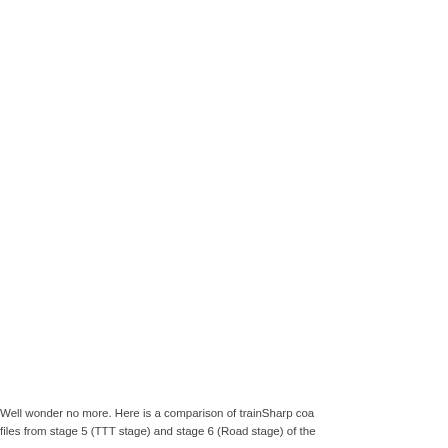Well wonder no more. Here is a comparison of trainSharp coach files from stage 5 (TTT stage) and stage 6 (Road stage) of the